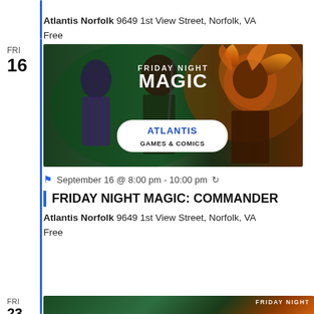Atlantis Norfolk 9649 1st View Street, Norfolk, VA
Free
FRI 16
[Figure (illustration): Friday Night Magic promotional banner featuring fantasy characters (armored warrior and woman with flaming hair) with Atlantis Games & Comics logo overlay]
September 16 @ 8:00 pm - 10:00 pm (recurring)
FRIDAY NIGHT MAGIC: COMMANDER
Atlantis Norfolk 9649 1st View Street, Norfolk, VA
Free
FRI 23
[Figure (illustration): Friday Night Magic promotional banner partial view at bottom of page]